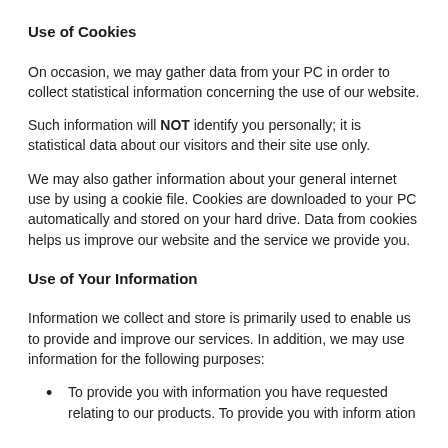Use of Cookies
On occasion, we may gather data from your PC in order to collect statistical information concerning the use of our website.
Such information will NOT identify you personally; it is statistical data about our visitors and their site use only.
We may also gather information about your general internet use by using a cookie file. Cookies are downloaded to your PC automatically and stored on your hard drive. Data from cookies helps us improve our website and the service we provide you.
Use of Your Information
Information we collect and store is primarily used to enable us to provide and improve our services. In addition, we may use information for the following purposes:
To provide you with information you have requested relating to our products. To provide you with inform ation